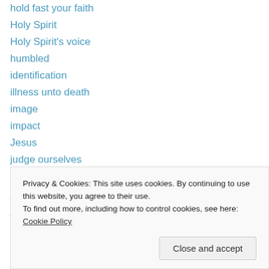hold fast your faith
Holy Spirit
Holy Spirit's voice
humbled
identification
illness unto death
image
impact
Jesus
judge ourselves
Judgement
judgement in the house
just
justified
likeness
Privacy & Cookies: This site uses cookies. By continuing to use this website, you agree to their use. To find out more, including how to control cookies, see here: Cookie Policy